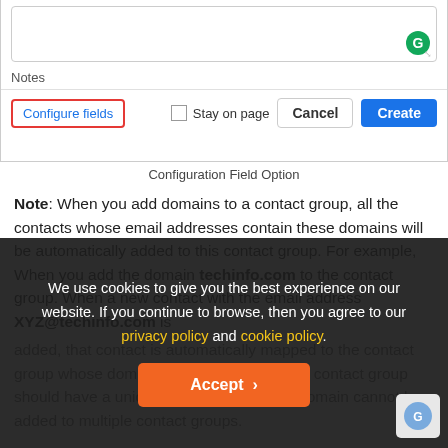[Figure (screenshot): Dialog box with a text area, Notes label, Configure fields button (red border), Stay on page checkbox, Cancel and Create buttons]
Configuration Field Option
Note: When you add domains to a contact group, all the contacts whose email addresses contain these domains will be automatically added to this contact group. For example, When you add the domain techinfo.com to the contact group. When a new contact with the email address XYZ@techinfo.com is added, that contact is automatically mapped to the contact group whose domain is techinfo.com. Each contact group should have a unique domain. The same domain cannot be added to multiple contact groups.
We use cookies to give you the best experience on our website. If you continue to browse, then you agree to our privacy policy and cookie policy.
Accept